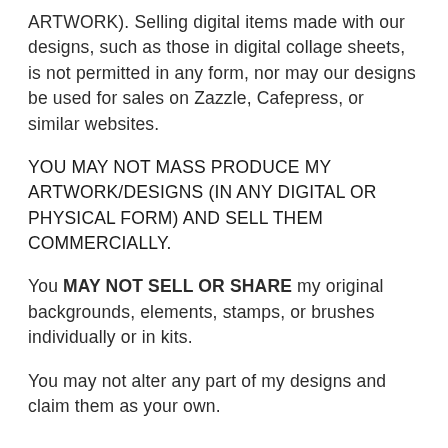ARTWORK). Selling digital items made with our designs, such as those in digital collage sheets, is not permitted in any form, nor may our designs be used for sales on Zazzle, Cafepress, or similar websites.
YOU MAY NOT MASS PRODUCE MY ARTWORK/DESIGNS (IN ANY DIGITAL OR PHYSICAL FORM) AND SELL THEM COMMERCIALLY.
You MAY NOT SELL OR SHARE my original backgrounds, elements, stamps, or brushes individually or in kits.
You may not alter any part of my designs and claim them as your own.